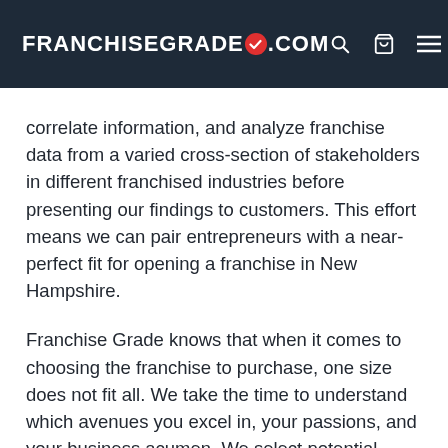FRANCHISEGRADE.COM
correlate information, and analyze franchise data from a varied cross-section of stakeholders in different franchised industries before presenting our findings to customers. This effort means we can pair entrepreneurs with a near-perfect fit for opening a franchise in New Hampshire.
Franchise Grade knows that when it comes to choosing the franchise to purchase, one size does not fit all. We take the time to understand which avenues you excel in, your passions, and your business acumen. We select potential franchises in New Hampshire that position you for tremendous success when we fully know you.